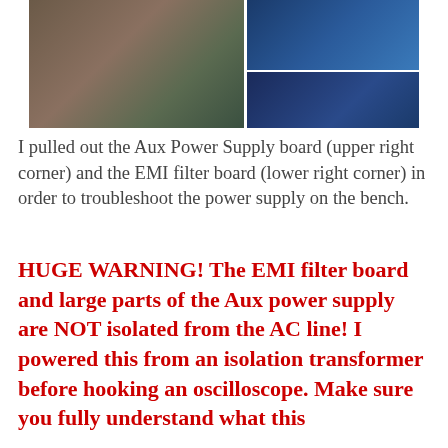[Figure (photo): Photo of electronics bench showing circuit boards including the Aux Power Supply board (upper right) and EMI filter board (lower right) pulled out for troubleshooting]
I pulled out the Aux Power Supply board (upper right corner) and the EMI filter board (lower right corner) in order to troubleshoot the power supply on the bench.
HUGE WARNING! The EMI filter board and large parts of the Aux power supply are NOT isolated from the AC line! I powered this from an isolation transformer before hooking an oscilloscope. Make sure you fully understand what this